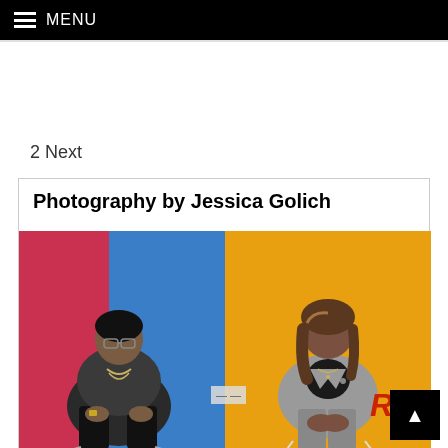MENU
2 Next
Photography by Jessica Golich
[Figure (photo): Two people seated on stage at a conference. Left: a man wearing glasses, a gray jacket, and chains. Background is red and blue. Right: a woman in a gray plaid blazer and pants seated and speaking. Background is orange/yellow. Partial 'ROC' text visible behind her.]